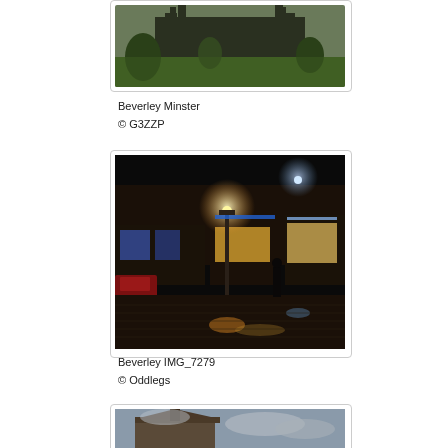[Figure (photo): Partial view of Beverley Minster cathedral with green lawn, trees in foreground, gothic architecture visible]
Beverley Minster
© G3ZZP
[Figure (photo): Night photograph of Beverley town square/market place with streetlights, illuminated shop fronts, wet cobblestone streets reflecting lights, lampost in center]
Beverley IMG_7279
© Oddlegs
[Figure (photo): Partial view of a building with rooftop visible, overcast sky]